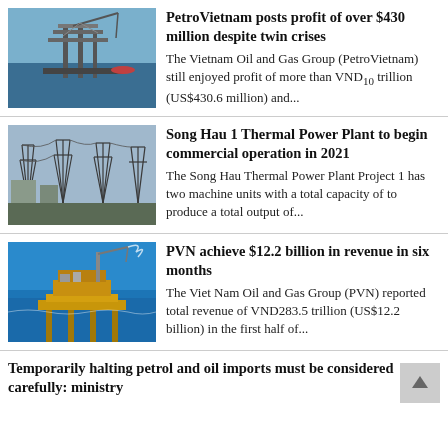[Figure (photo): Offshore oil platform/rig at sea]
PetroVietnam posts profit of over $430 million despite twin crises
The Vietnam Oil and Gas Group (PetroVietnam) still enjoyed profit of more than VND10 trillion (US$430.6 million) and...
[Figure (photo): Electrical power substation with transmission towers]
Song Hau 1 Thermal Power Plant to begin commercial operation in 2021
The Song Hau Thermal Power Plant Project 1 has two machine units with a total capacity of to produce a total output of...
[Figure (photo): Offshore oil drilling platform over blue sea]
PVN achieve $12.2 billion in revenue in six months
The Viet Nam Oil and Gas Group (PVN) reported total revenue of VND283.5 trillion (US$12.2 billion) in the first half of...
Temporarily halting petrol and oil imports must be considered carefully: ministry